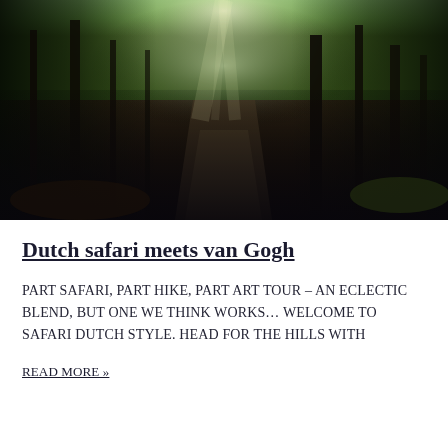[Figure (photo): Forest path with sunlight rays filtering through tall trees, misty atmosphere, dirt road leading into the distance]
Dutch safari meets van Gogh
PART SAFARI, PART HIKE, PART ART TOUR – AN ECLECTIC BLEND, BUT ONE WE THINK WORKS… WELCOME TO SAFARI DUTCH STYLE. HEAD FOR THE HILLS WITH
READ MORE »